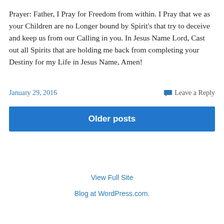Prayer: Father, I Pray for Freedom from within. I Pray that we as your Children are no Longer bound by Spirit's that try to deceive and keep us from our Calling in you. In Jesus Name Lord, Cast out all Spirits that are holding me back from completing your Destiny for my Life in Jesus Name, Amen!
January 29, 2016
Leave a Reply
Older posts
View Full Site
Blog at WordPress.com.